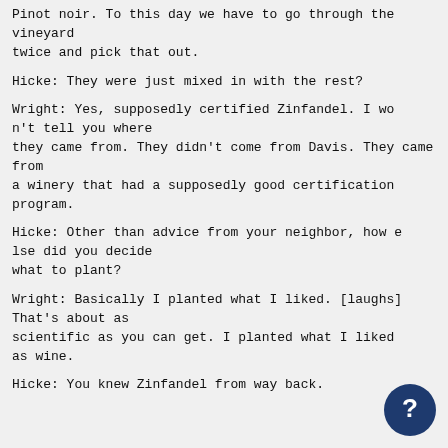Pinot noir. To this day we have to go through the vineyard
twice and pick that out.
Hicke: They were just mixed in with the rest?
Wright: Yes, supposedly certified Zinfandel. I wo
n't tell you where
they came from. They didn't come from Davis. They came from
a winery that had a supposedly good certification
program.
Hicke: Other than advice from your neighbor, how e
lse did you decide
what to plant?
Wright: Basically I planted what I liked. [laughs]
That's about as
scientific as you can get. I planted what I liked
as wine.
Hicke: You knew Zinfandel from way back.